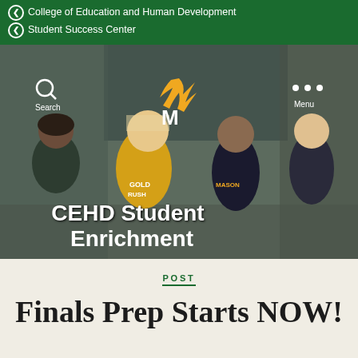College of Education and Human Development
Student Success Center
[Figure (photo): Hero image of George Mason University students walking and smiling on campus, wearing CEHD green and gold apparel including Gold Rush and Mason Class of 20 shirts. The Mason M logo with feather appears at center top. Text overlay reads CEHD Student Enrichment. Search icon with label is at top left, Menu with three dots at top right.]
POST
Finals Prep Starts NOW!